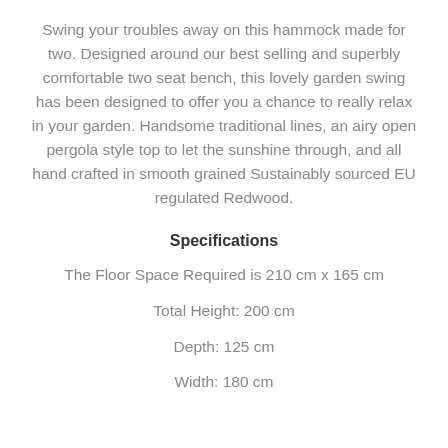Swing your troubles away on this hammock made for two. Designed around our best selling and superbly comfortable two seat bench, this lovely garden swing has been designed to offer you a chance to really relax in your garden. Handsome traditional lines, an airy open pergola style top to let the sunshine through, and all hand crafted in smooth grained Sustainably sourced EU regulated Redwood.
Specifications
The Floor Space Required is 210 cm x 165 cm
Total Height: 200 cm
Depth: 125 cm
Width: 180 cm